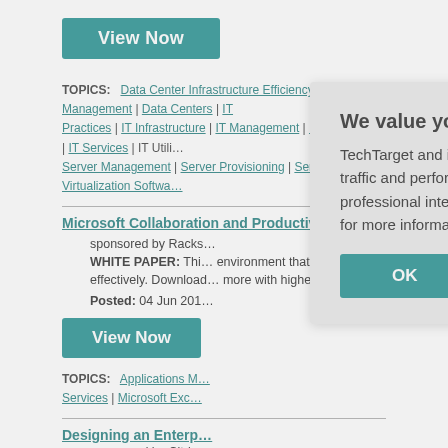View Now
TOPICS: Data Center Infrastructure Efficiency | Data Center Management | Data Centers | IT Practices | IT Infrastructure | IT Management | IT Management Services | IT Services | IT Utilities | Server Management | Server Provisioning | Server Virtualization | Server Virtualization Software
Microsoft Collaboration and Productivity Apps Use Case
sponsored by Rackspace
WHITE PAPER: This... environment that ca... effectively. Download... more with higher availability.
Posted: 04 Jun 201...
View Now
TOPICS: Applications M... Services | Microsoft Exc...
Designing an Enterprise...
sponsored by Citrix
We value your privacy.
TechTarget and its partners employ cookies to improve your experience on our site, to analyze traffic and performance, and to serve personalized content and advertising that are relevant to your professional interests. You can manage your settings at any time. Please view our Privacy Policy for more information
OK
Settings